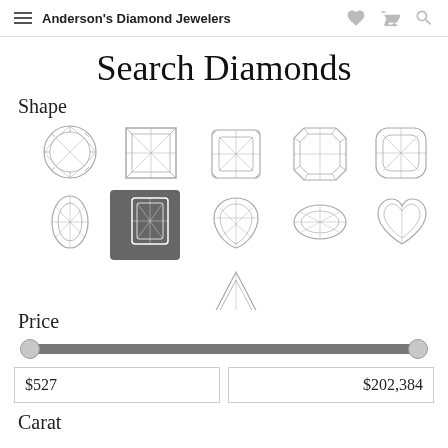Anderson's Diamond Jewelers
Search Diamonds
Shape
[Figure (illustration): Diamond shape selector grid with 11 diamond cut icons arranged in rows. Row 1: Round, Princess, Cushion/Asscher, Emerald, Cushion. Row 2: Oval, Radiant (selected/highlighted), Pear, Marquise, Heart. Row 3 (center): Trillion/Triangle. The Radiant shape is highlighted with a dark gray background.]
Price
[Figure (other): A horizontal price range slider. The track is dark gray spanning the full width. There are two circular thumb handles at each end. Below are two input boxes showing $527 on the left and $202,384 on the right.]
$527
$202,384
Carat